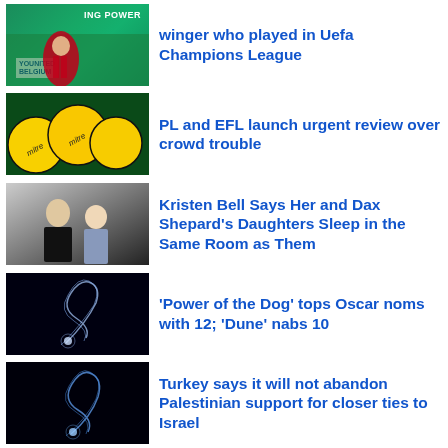[Figure (photo): Soccer player in red kit running on green pitch; Younited Belgium sponsor visible]
winger who played in Uefa Champions League
[Figure (photo): Yellow Mitre footballs on dark green grass]
PL and EFL launch urgent review over crowd trouble
[Figure (photo): Man and woman (Dax Shepard and Kristen Bell) at event]
Kristen Bell Says Her and Dax Shepard's Daughters Sleep in the Same Room as Them
[Figure (photo): Dark background with glowing blue-white light swirl/tentacle]
'Power of the Dog' tops Oscar noms with 12; 'Dune' nabs 10
[Figure (photo): Dark background with blue glowing light swirl]
Turkey says it will not abandon Palestinian support for closer ties to Israel